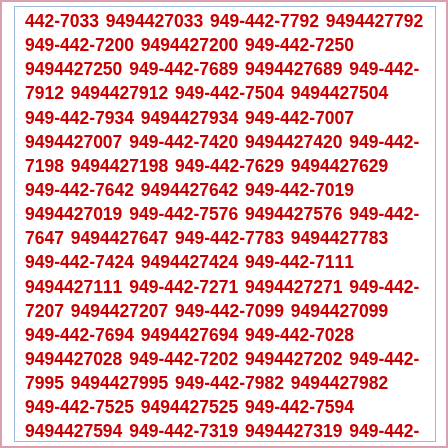442-7033 9494427033 949-442-7792 9494427792 949-442-7200 9494427200 949-442-7250 9494427250 949-442-7689 9494427689 949-442-7912 9494427912 949-442-7504 9494427504 949-442-7934 9494427934 949-442-7007 9494427007 949-442-7420 9494427420 949-442-7198 9494427198 949-442-7629 9494427629 949-442-7642 9494427642 949-442-7019 9494427019 949-442-7576 9494427576 949-442-7647 9494427647 949-442-7783 9494427783 949-442-7424 9494427424 949-442-7111 9494427111 949-442-7271 9494427271 949-442-7207 9494427207 949-442-7099 9494427099 949-442-7694 9494427694 949-442-7028 9494427028 949-442-7202 9494427202 949-442-7995 9494427995 949-442-7982 9494427982 949-442-7525 9494427525 949-442-7594 9494427594 949-442-7319 9494427319 949-442-7520 9494427520 949-442-7665 9494427665 949-442-7043 9494427043 949-442-7644 9494427644 949-442-7945